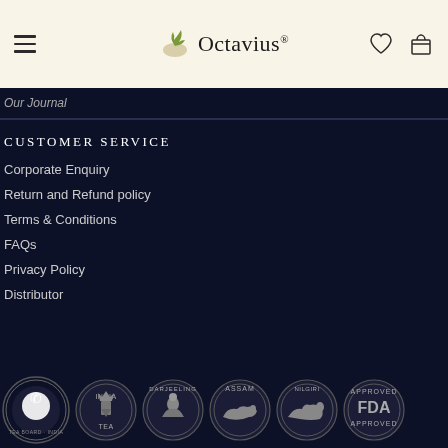Octavius
Our Journal
CUSTOMER SERVICE
Corporate Enquiry
Return and Refund policy
Terms & Conditions
FAQs
Privacy Policy
Distributor
[Figure (logo): Row of certification badge icons: WhatsApp with Tea Board India, India Tea, Darjeeling, Assam, Nilgiri, and FDA Approved badges]